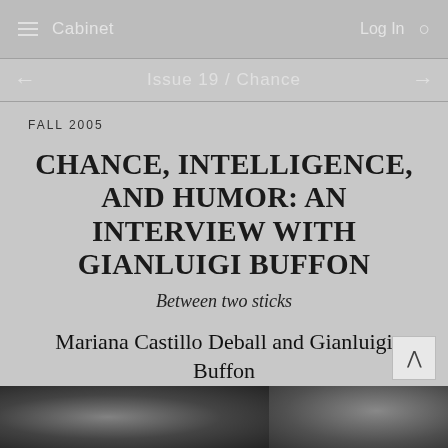Cabinet  Log In
Issue 19 / Chance
FALL 2005
CHANCE, INTELLIGENCE, AND HUMOR: AN INTERVIEW WITH GIANLUIGI BUFFON
Between two sticks
Mariana Castillo Deball and Gianluigi Buffon
[Figure (photo): Black and white photograph showing people, partially visible at the bottom of the page]